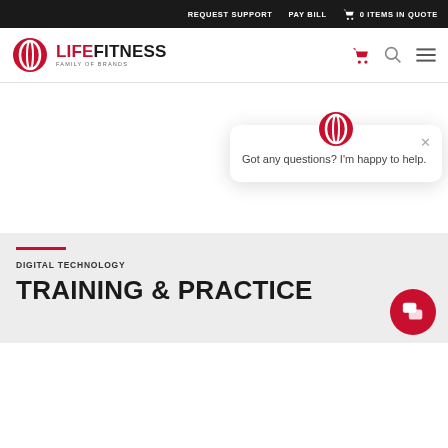REQUEST SUPPORT  PAY BILL  0 ITEMS IN QUOTE
[Figure (logo): Life Fitness Family of Brands logo — red oval icon, bold text LIFEFITNESS, subtitle FAMILY OF BRANDS]
Got any questions? I'm happy to help.
DIGITAL TECHNOLOGY
TRAINING & PRACTICE